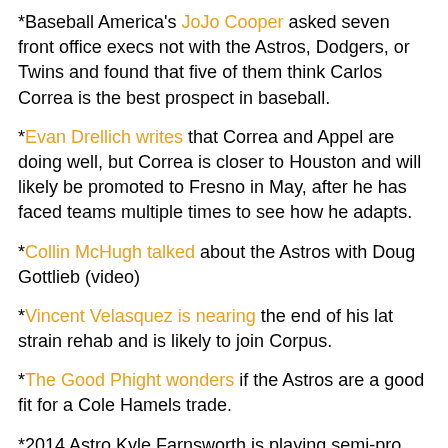*Baseball America's JoJo Cooper asked seven front office execs not with the Astros, Dodgers, or Twins and found that five of them think Carlos Correa is the best prospect in baseball.
*Evan Drellich writes that Correa and Appel are doing well, but Correa is closer to Houston and will likely be promoted to Fresno in May, after he has faced teams multiple times to see how he adapts.
*Collin McHugh talked about the Astros with Doug Gottlieb (video)
*Vincent Velasquez is nearing the end of his lat strain rehab and is likely to join Corpus.
*The Good Phight wonders if the Astros are a good fit for a Cole Hamels trade.
*2014 Astro Kyle Farnsworth is playing semi-pro football and is leading his team in sacks.
*Former Astro farmhand Carlos Perez, traded with Trancoso